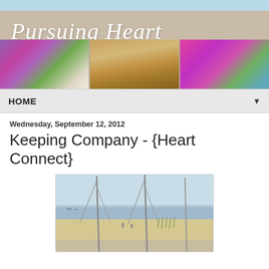[Figure (illustration): Blog header banner with tan/beige background and italic script text reading 'Pursuing Heart', below which are three photos side by side: purple flowers hanging basket, a golden baked pie, and pink/purple fuchsia flowers in a planter.]
HOME ▼
Wednesday, September 12, 2012
Keeping Company - {Heart Connect}
[Figure (photo): Photograph of a beach scene viewed from a sailboat, with sailboat masts, sandy beach, calm blue-gray water, and a clear sky.]